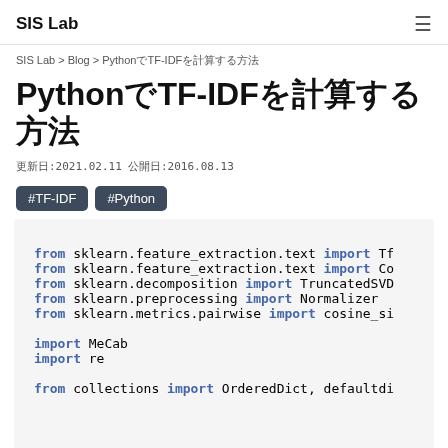SIS Lab
SIS Lab > Blog > PythonでTF-IDFを計算する方法
PythonでTF-IDFを計算する方法
更新日:2021.02.11  公開日:2016.08.13
#TF-IDF  #Python
from sklearn.feature_extraction.text import Tf
from sklearn.feature_extraction.text import Co
from sklearn.decomposition import TruncatedSVD
from sklearn.preprocessing import Normalizer
from sklearn.metrics.pairwise import cosine_si

import MeCab
import re

from collections import OrderedDict, defaultdi